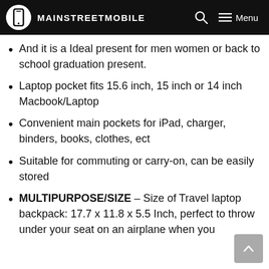MAINSTREETMOBILE
And it is a Ideal present for men women or back to school graduation present.
Laptop pocket fits 15.6 inch, 15 inch or 14 inch Macbook/Laptop
Convenient main pockets for iPad, charger, binders, books, clothes, ect
Suitable for commuting or carry-on, can be easily stored
MULTIPURPOSE/SIZE – Size of Travel laptop backpack: 17.7 x 11.8 x 5.5 Inch, perfect to throw under your seat on an airplane when you